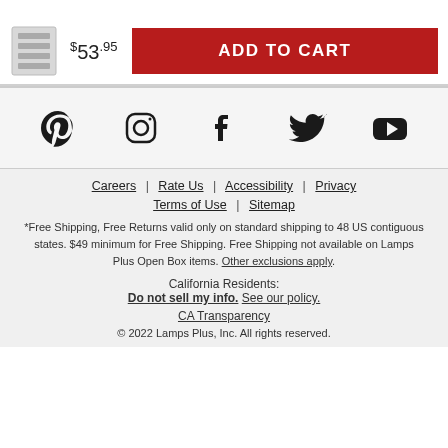[Figure (photo): Small product thumbnail of a wall light fixture (gray/silver rectangular step light)]
$53.95
ADD TO CART
[Figure (infographic): Social media icons row: Pinterest, Instagram, Facebook, Twitter, YouTube]
Careers | Rate Us | Accessibility | Privacy
Terms of Use | Sitemap
*Free Shipping, Free Returns valid only on standard shipping to 48 US contiguous states. $49 minimum for Free Shipping. Free Shipping not available on Lamps Plus Open Box items. Other exclusions apply.
California Residents:
Do not sell my info. See our policy.
CA Transparency
© 2022 Lamps Plus, Inc. All rights reserved.